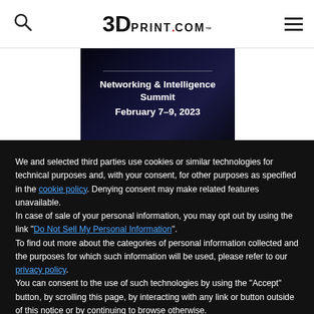3DPrint.com
[Figure (illustration): Dark background banner image showing 'Networking & Intelligence Summit February 7–9, 2023']
We and selected third parties use cookies or similar technologies for technical purposes and, with your consent, for other purposes as specified in the cookie policy. Denying consent may make related features unavailable.
In case of sale of your personal information, you may opt out by using the link "Do Not Sell My Personal Information".
To find out more about the categories of personal information collected and the purposes for which such information will be used, please refer to our privacy policy.
You can consent to the use of such technologies by using the "Accept" button, by scrolling this page, by interacting with any link or button outside of this notice or by continuing to browse otherwise.
Reject
Accept
Learn more and customize